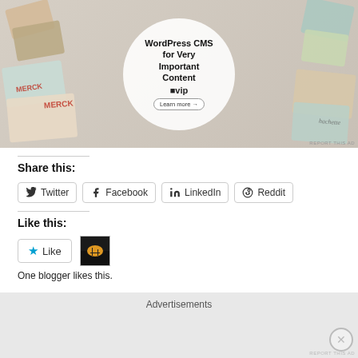[Figure (illustration): WordPress CMS for Very Important Content advertisement banner with WP VIP logo, 'Learn more' button, and branded content tiles in background (Merck, Hachette, etc.)]
REPORT THIS AD
Share this:
Twitter
Facebook
LinkedIn
Reddit
Like this:
Like
One blogger likes this.
Advertisements
REPORT THIS AD